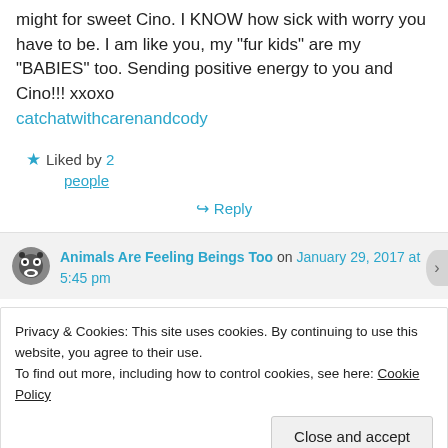might for sweet Cino. I KNOW how sick with worry you have to be. I am like you, my “fur kids” are my “BABIES” too. Sending positive energy to you and Cino!!! xxoxo catchatwithcarenandcody
Liked by 2 people
↪ Reply
Animals Are Feeling Beings Too on January 29, 2017 at 5:45 pm
Privacy & Cookies: This site uses cookies. By continuing to use this website, you agree to their use. To find out more, including how to control cookies, see here: Cookie Policy
Close and accept